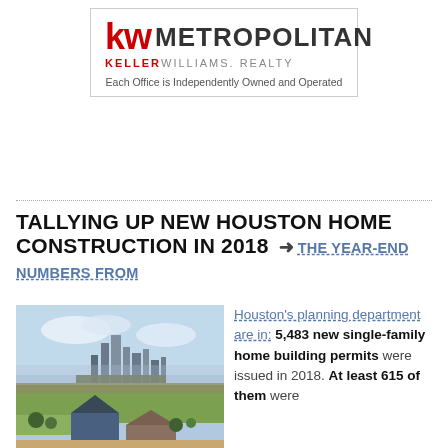[Figure (logo): KW Metropolitan Keller Williams Realty logo with tagline 'Each Office is Independently Owned and Operated']
TALLYING UP NEW HOUSTON HOME CONSTRUCTION IN 2018
The year-end numbers from Houston's planning department are in: 5,483 new single-family home building permits were issued in 2018. At least 615 of them were
[Figure (photo): Aerial photo of Houston skyline with new residential construction homes in foreground]